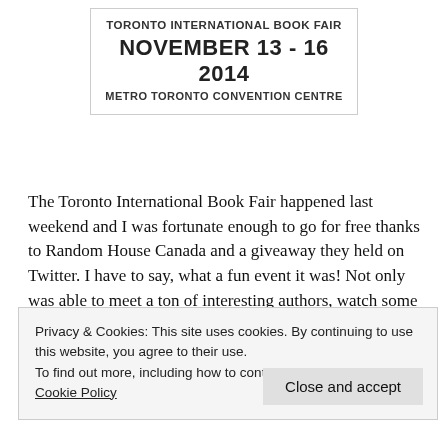[Figure (logo): Toronto International Book Fair logo box with event details: TORONTO INTERNATIONAL BOOK FAIR, NOVEMBER 13 - 16 2014, METRO TORONTO CONVENTION CENTRE]
The Toronto International Book Fair happened last weekend and I was fortunate enough to go for free thanks to Random House Canada and a giveaway they held on Twitter. I have to say, what a fun event it was! Not only was able to meet a ton of interesting authors, watch some fantastic panels and speakers, but I was surrounded by books, books, and more
Privacy & Cookies: This site uses cookies. By continuing to use this website, you agree to their use.
To find out more, including how to control cookies, see here: Cookie Policy